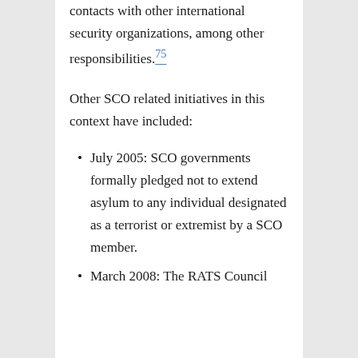contacts with other international security organizations, among other responsibilities.75
Other SCO related initiatives in this context have included:
July 2005: SCO governments formally pledged not to extend asylum to any individual designated as a terrorist or extremist by a SCO member.
March 2008: The RATS Council